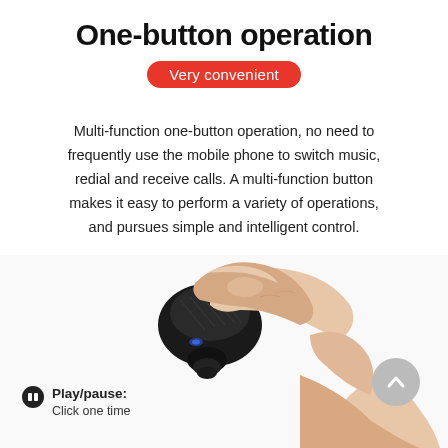One-button operation
Very convenient
Multi-function one-button operation, no need to frequently use the mobile phone to switch music, redial and receive calls. A multi-function button makes it easy to perform a variety of operations, and pursues simple and intelligent control.
[Figure (photo): A hand pressing a finger on a small black wireless earbud, with a gray scroll-up button in the bottom right corner]
Play/pause: Click one time